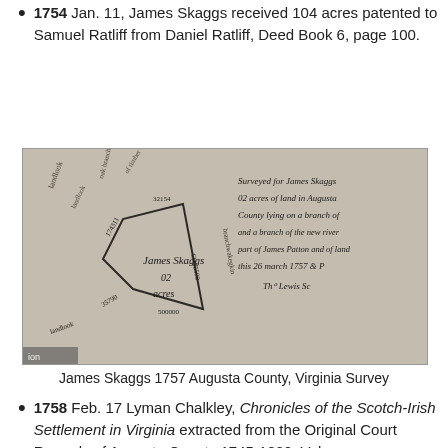1754 Jan. 11, James Skaggs received 104 acres patented to Samuel Ratliff from Daniel Ratliff, Deed Book 6, page 100.
[Figure (photo): Historical handwritten survey document showing James Skaggs 1757 Augusta County Virginia Survey, with a hand-drawn land plat and cursive notation.]
James Skaggs 1757 Augusta County, Virginia Survey
1758 Feb. 17 Lyman Chalkley, Chronicles of the Scotch-Irish Settlement in Virginia extracted from the Original Court Records of Augusta County 1745-1800, Volume